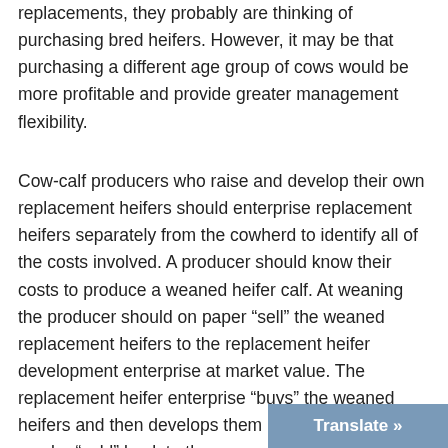replacements, they probably are thinking of purchasing bred heifers. However, it may be that purchasing a different age group of cows would be more profitable and provide greater management flexibility.
Cow-calf producers who raise and develop their own replacement heifers should enterprise replacement heifers separately from the cowherd to identify all of the costs involved. A producer should know their costs to produce a weaned heifer calf. At weaning the producer should on paper “sell” the weaned replacement heifers to the replacement heifer development enterprise at market value. The replacement heifer enterprise “buys” the weaned heifers and then develops them into bred heifers that can be “sold” back to the cow-calf enterprise. Once the bred heifers are ready to enter the herd, the cow-calf enterprise then “buys” these bred heifers